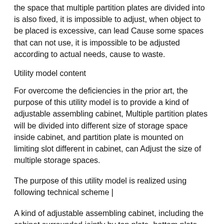the space that multiple partition plates are divided into is also fixed, it is impossible to adjust, when object to be placed is excessive, can lead Cause some spaces that can not use, it is impossible to be adjusted according to actual needs, cause to waste.
Utility model content
For overcome the deficiencies in the prior art, the purpose of this utility model is to provide a kind of adjustable assembling cabinet, Multiple partition plates will be divided into different size of storage space inside cabinet, and partition plate is mounted on limiting slot different in cabinet, can Adjust the size of multiple storage spaces.
The purpose of this utility model is realized using following technical scheme❘
A kind of adjustable assembling cabinet, including the cabinet surrounded jointly by top plate, bottom plate and both side plate❘Top plate is connected to Between the top of both side plate❘Bottom plate is connected between the bottom of both side plate❘Multiple partition plates and multiple connectors are equipped in cabinet❘ Side plate is